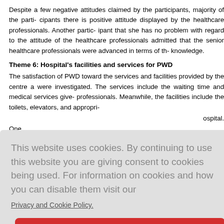Despite a few negative attitudes claimed by the participants, majority of the participants there is positive attitude displayed by the healthcare professionals. Another participant claimed that she has no problem with regard to the attitude of the healthcare professionals and admitted that the senior healthcare professionals were advanced in terms of their knowledge.
Theme 6: Hospital's facilities and services for PWD
The satisfaction of PWD toward the services and facilities provided by the centre and were investigated. The services include the waiting time and medical services given by professionals. Meanwhile, the facilities include the toilets, elevators, and appropriate hospital. One nded and h requent cha ge for speci s mentioned by the heal claimed tha access into the public hospital due to the parking limit problem. Unfortunately, s
This website uses cookies. By continuing to use this website you are giving consent to cookies being used. For information on cookies and how you can disable them visit our Privacy and Cookie Policy. AGREE & PROCEED